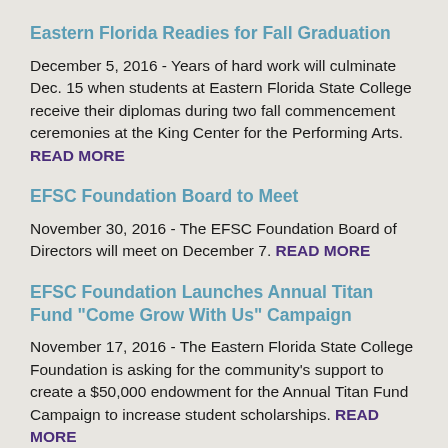Eastern Florida Readies for Fall Graduation
December 5, 2016 - Years of hard work will culminate Dec. 15 when students at Eastern Florida State College receive their diplomas during two fall commencement ceremonies at the King Center for the Performing Arts. READ MORE
EFSC Foundation Board to Meet
November 30, 2016 - The EFSC Foundation Board of Directors will meet on December 7. READ MORE
EFSC Foundation Launches Annual Titan Fund "Come Grow With Us" Campaign
November 17, 2016 - The Eastern Florida State College Foundation is asking for the community's support to create a $50,000 endowment for the Annual Titan Fund Campaign to increase student scholarships. READ MORE
EFSC Foundation Tournament Raises Funds for Student